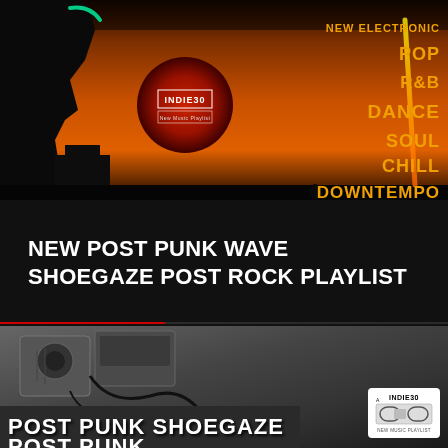[Figure (photo): Music playlist promotional banner with sunset/orange background, tree silhouette on left, Indie30 New Music Playlist logo in center, genre list on right (NEW ELECTRONIC, POP, R&B, DANCE, SOUL, CHILL, DOWNTEMPO) in orange/gold text]
NEW POST PUNK WAVE SHOEGAZE POST ROCK PLAYLIST
[Figure (photo): Black and white photo of audio equipment/amplifiers with text POST PUNK SHOEGAZE overlay in white bold letters, and Indie30 New Music Playlist cassette badge in bottom right corner]